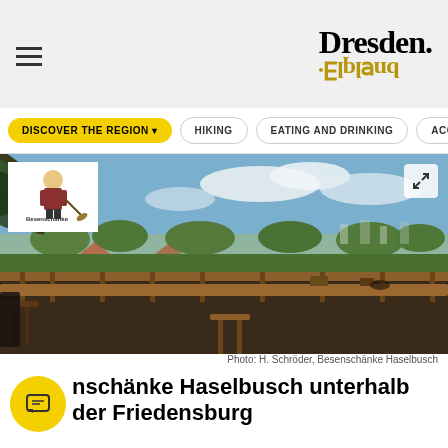Dresden. Elbland
[Figure (screenshot): Navigation menu with hamburger icon on left and Dresden.Elbland logo on right]
[Figure (photo): Outdoor terrace with wooden railing and furniture, overlooking green treetops and cityscape under blue sky. Overlay shows Besenschänke Haselbusch logo in top left.]
Photo: H. Schröder, Besenschänke Haselbusch
Besenschänke Haselbusch unterhalb der Friedensburg